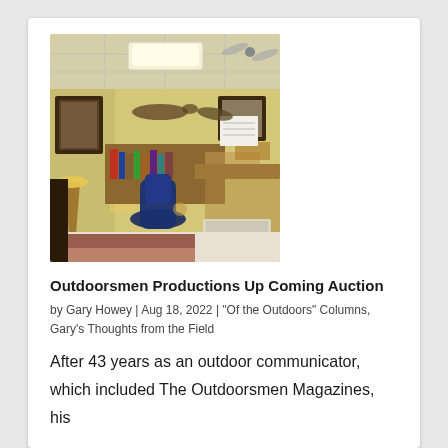[Figure (photo): Interior of an office/study room with desks, bookshelves, framed pictures on yellow walls, mounted fish decorations, a lamp, and office chairs with a checkered floor.]
Outdoorsmen Productions Up Coming Auction
by Gary Howey | Aug 18, 2022 | "Of the Outdoors" Columns, Gary's Thoughts from the Field
After 43 years as an outdoor communicator, which included The Outdoorsmen Magazines, his radioted Of the Outdoors, and